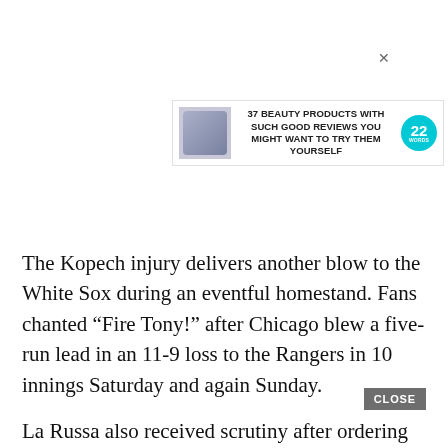[Figure (infographic): Advertisement banner showing a beauty product jar image on the left, bold text '37 BEAUTY PRODUCTS WITH SUCH GOOD REVIEWS YOU MIGHT WANT TO TRY THEM YOURSELF' in the center, a teal circular badge with '22 WORDS' on the right, and an X close button]
The Kopech injury delivers another blow to the White Sox during an eventful homestand. Fans chanted “Fire Tony!” after Chicago blew a five-run lead in an 11-9 loss to the Rangers in 10 innings Saturday and again Sunday.
La Russa also received scrutiny after ordering an